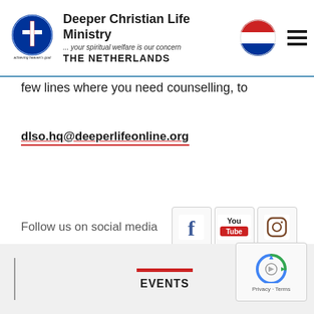Deeper Christian Life Ministry ... your spiritual welfare is our concern THE NETHERLANDS
few lines where you need counselling, to
dlso.hq@deeperlifeonline.org
Follow us on social media
[Figure (logo): Facebook, YouTube, and Instagram social media icons]
EVENTS